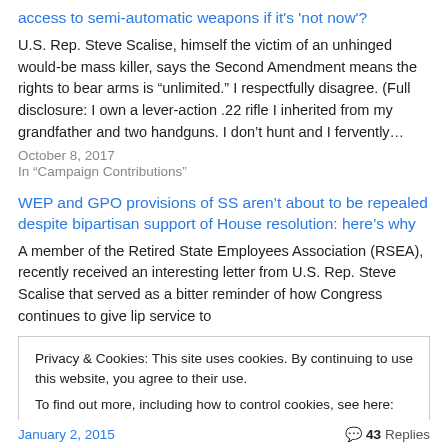access to semi-automatic weapons if it's 'not now'?
U.S. Rep. Steve Scalise, himself the victim of an unhinged would-be mass killer, says the Second Amendment means the rights to bear arms is “unlimited.” I respectfully disagree. (Full disclosure: I own a lever-action .22 rifle I inherited from my grandfather and two handguns. I don’t hunt and I fervently…
October 8, 2017
In "Campaign Contributions"
WEP and GPO provisions of SS aren’t about to be repealed despite bipartisan support of House resolution: here’s why
A member of the Retired State Employees Association (RSEA), recently received an interesting letter from U.S. Rep. Steve Scalise that served as a bitter reminder of how Congress continues to give lip service to
Privacy & Cookies: This site uses cookies. By continuing to use this website, you agree to their use.
To find out more, including how to control cookies, see here: Cookie Policy
January 2, 2015
43 Replies